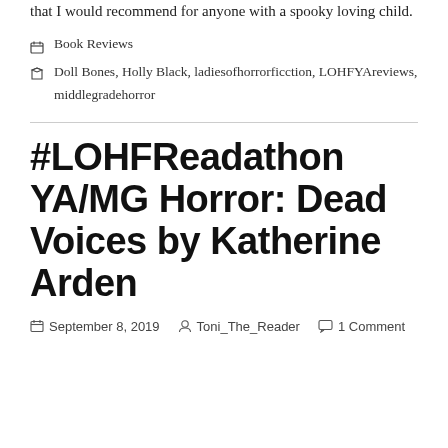that I would recommend for anyone with a spooky loving child.
📁 Book Reviews
🏷 Doll Bones, Holly Black, ladiesofhorrorficction, LOHFYAreviews, middlegradehorror
#LOHFReadathon YA/MG Horror: Dead Voices by Katherine Arden
September 8, 2019  Toni_The_Reader  1 Comment